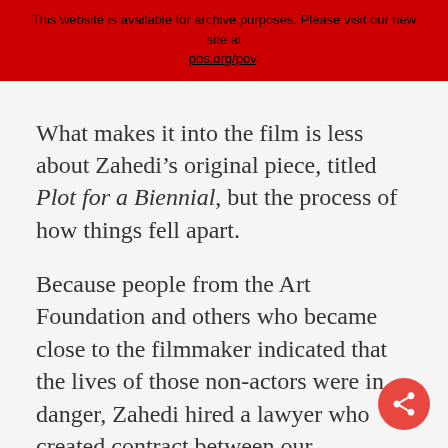This website is available for archive purposes. Please visit our new site at pbs.org/pov.
What makes it into the film is less about Zahedi’s original piece, titled Plot for a Biennial, but the process of how things fell apart.
Because people from the Art Foundation and others who became close to the filmmaker indicated that the lives of those non-actors were in danger, Zahedi hired a lawyer who created contract between our government and theirs that states no harm should come to those people. But how effective is that contract in practice? The clip below, from the